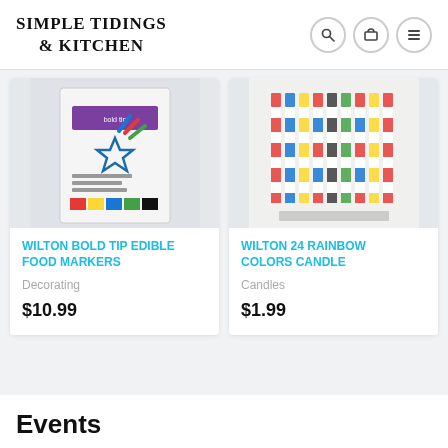SIMPLE TIDINGS & KITCHEN
[Figure (photo): Wilton Bold Tip Edible Food Markers product image - colorful markers with a star-decorated cupcake and color swatches]
WILTON BOLD TIP EDIBLE FOOD MARKERS
Decorating
$10.99
[Figure (photo): Wilton 24 Rainbow Colors Candle product image - striped birthday candles in multiple colors]
WILTON 24 RAINBOW COLORS CANDLE
Candles
$1.99
Events